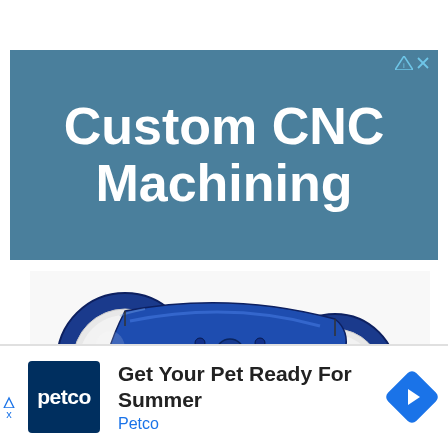[Figure (infographic): Advertisement banner with teal/steel blue background showing text 'Custom CNC Machining' in large bold white letters, with a small ad indicator icon (triangle and X) in top right corner]
[Figure (photo): Blue anodized CNC machined motorcycle triple clamp / fork yoke component with two cylindrical bores and intricate machined structure, photographed on white background]
[Figure (infographic): Petco advertisement showing Petco logo (white text on dark blue square), text 'Get Your Pet Ready For Summer' and 'Petco' in blue, with a blue navigation arrow diamond icon on right]